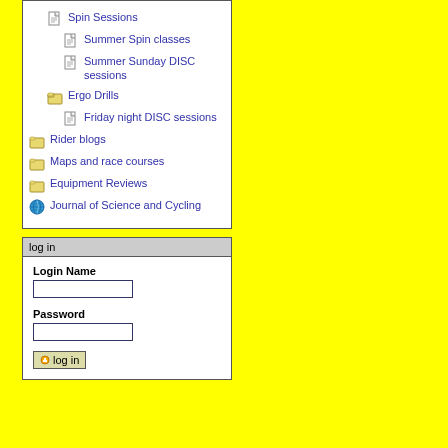Spin Sessions
Summer Spin classes
Summer Sunday DISC sessions
Ergo Drills
Friday night DISC sessions
Rider blogs
Maps and race courses
Equipment Reviews
Journal of Science and Cycling
log in
Login Name
Password